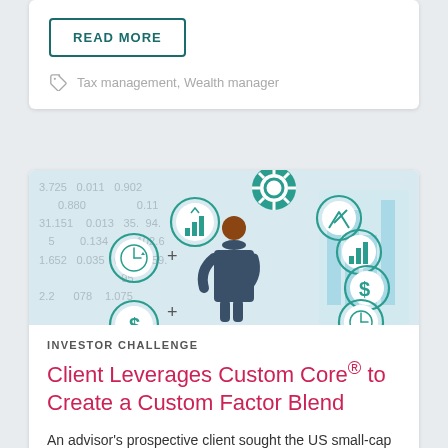READ MORE
Tax management,  Wealth manager
[Figure (illustration): Illustration of a businessman in dark suit viewed from behind, surrounded by circular teal icons representing various investment and financial concepts (charts, gears, dollar signs, clocks, awards). Background shows faded financial numbers and a bar chart graphic.]
INVESTOR CHALLENGE
Client Leverages Custom Core® to Create a Custom Factor Blend
An advisor's prospective client sought the US small-cap and value exposure of a mutual fund but